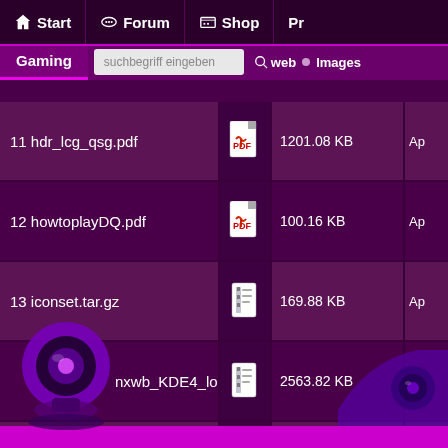Start | Forum | Shop | Pr...
Gaming | suchbegriff eingeben | web | Images
| Filename | Icon | Size | Date |
| --- | --- | --- | --- |
| 11 hdr_lcg_qsg.pdf | pdf | 1201.08 KB | Ap |
| 12 howtoplayDQ.pdf | pdf | 100.16 KB | Ap |
| 13 iconset.tar.gz | zip | 169.88 KB | Ap |
| nxwb_KDE4_logintheme.tar.gz | zip | 2563.82 KB | Oc |
| 15 lnxwb_logo_vector.tar.gz | zip | 13.63 KB | Ju |